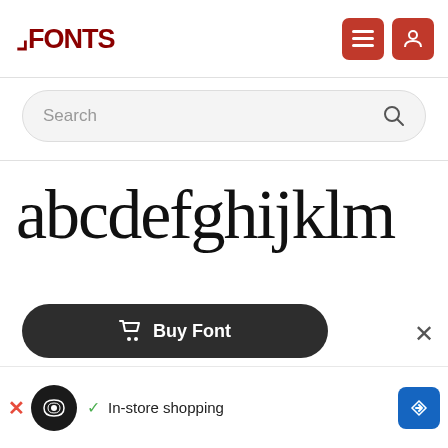FONTS logo with navigation icons
Search
[Figure (illustration): Large serif font sample displaying lowercase letters: abcdefghijklm]
Buy Font
[Figure (infographic): Advertisement banner with circular logo, checkmark, In-store shopping text, and navigation icon]